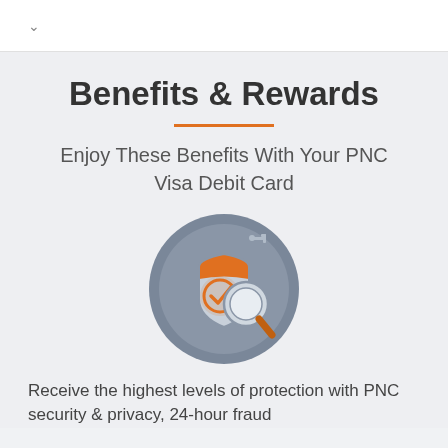v
Benefits & Rewards
Enjoy These Benefits With Your PNC Visa Debit Card
[Figure (illustration): A circular icon with a grey background showing a security shield with an orange top and a checkmark in orange, overlaid with a grey magnifying glass icon, with a small circuit connector symbol in the upper right.]
Receive the highest levels of protection with PNC security & privacy, 24-hour fraud